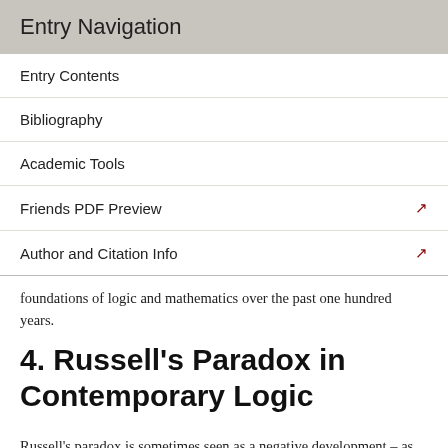Entry Navigation
Entry Contents
Bibliography
Academic Tools
Friends PDF Preview
Author and Citation Info
foundations of logic and mathematics over the past one hundred years.
4. Russell's Paradox in Contemporary Logic
Russell's paradox is sometimes seen as a negative development – as bringing down Frege's Grundgesetze and as one of the original conceptual sins leading to our expulsion from Cantor's paradise. W.V. Quine describes